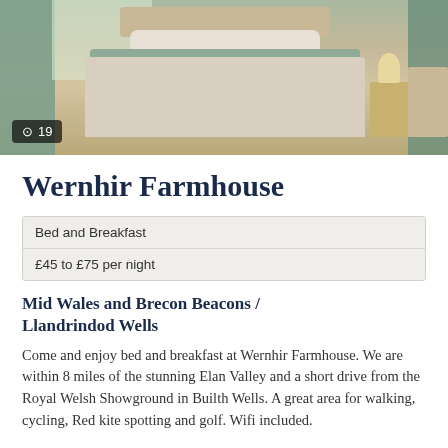[Figure (photo): A bedroom interior showing a large bed with a sage green/teal bedspread and white pillows, flanked by bedside lamps. Green curtains frame a window in the background, and chairs are visible on the right side.]
Wernhir Farmhouse
| Bed and Breakfast |
| £45 to £75 per night |
Mid Wales and Brecon Beacons / Llandrindod Wells
Come and enjoy bed and breakfast at Wernhir Farmhouse. We are within 8 miles of the stunning Elan Valley and a short drive from the Royal Welsh Showground in Builth Wells. A great area for walking, cycling, Red kite spotting and golf. Wifi included.